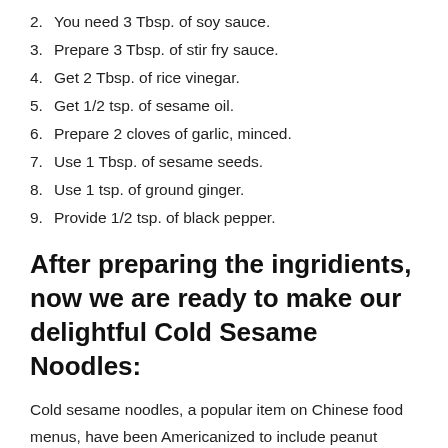2. You need 3 Tbsp. of soy sauce.
3. Prepare 3 Tbsp. of stir fry sauce.
4. Get 2 Tbsp. of rice vinegar.
5. Get 1/2 tsp. of sesame oil.
6. Prepare 2 cloves of garlic, minced.
7. Use 1 Tbsp. of sesame seeds.
8. Use 1 tsp. of ground ginger.
9. Provide 1/2 tsp. of black pepper.
After preparing the ingridients, now we are ready to make our delightful Cold Sesame Noodles:
Cold sesame noodles, a popular item on Chinese food menus, have been Americanized to include peanut butter, making this dish a closer relative to Thai noodle dishes and more family-friendly. The ingredients for this cold noodle dish can be prepared ahead of time, leaving nothing more to do in the morning before work than to